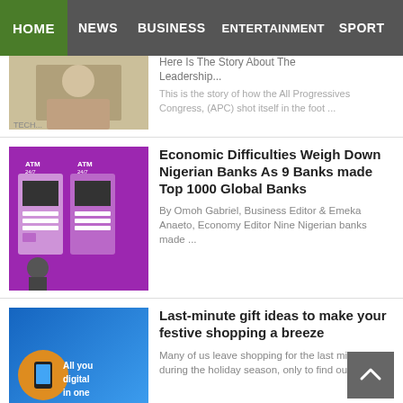HOME | NEWS | BUSINESS | ENTERTAINMENT | SPORT
Here Is The Story About The … This is the story of how the All Progressives Congress, (APC) shot itself in the foot ...
Economic Difficulties Weigh Down Nigerian Banks As 9 Banks made Top 1000 Global Banks
By Omoh Gabriel, Business Editor & Emeka Anaeto, Economy Editor Nine Nigerian banks made ...
Last-minute gift ideas to make your festive shopping a breeze
Many of us leave shopping for the last minute during the holiday season, only to find ourselves ...
Lux Afrique Boutique Now Offers International Luxury Brands A Way Into 54 Countries In Africa Through Their Online Luxury Shopping